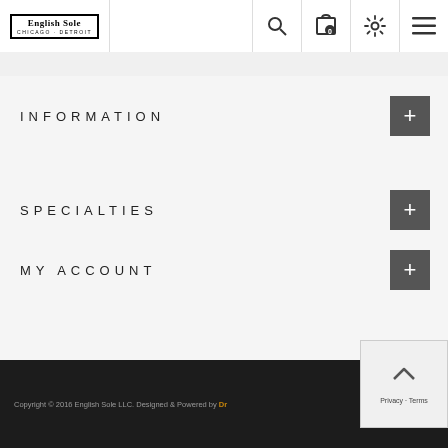English Sole - CHICAGO · DETROIT
INFORMATION
SPECIALTIES
MY ACCOUNT
Copyright © 2016 English Sole LLC. Designed & Powered by Dr...